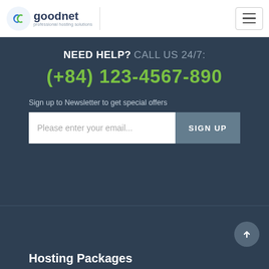[Figure (logo): goodnet professional hosting solutions logo with stylized blue/green icon]
NEED HELP? CALL US 24/7:
(+84) 123-4567-890
Sign up to Newsletter to get special offers
Please enter your email...
SIGN UP
Hosting Packages